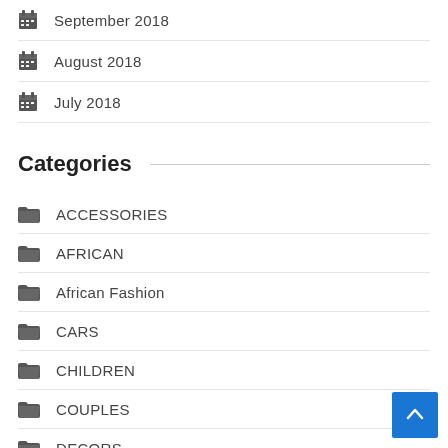September 2018
August 2018
July 2018
Categories
ACCESSORIES
AFRICAN
African Fashion
CARS
CHILDREN
COUPLES
DECORS